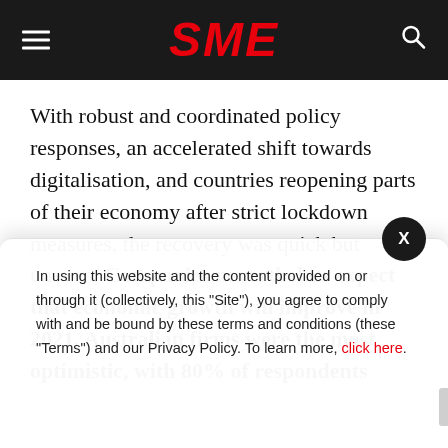SME
With robust and coordinated policy responses, an accelerated shift towards digitalisation, and countries reopening parts of their economy after strict lockdown measures, the recovery was quick but uneven. Companies nevertheless expect that economic growth will improve in 2021. Australian firms were the most optimistic, with 80% of respondents
In using this website and the content provided on or through it (collectively, this "Site"), you agree to comply with and be bound by these terms and conditions (these "Terms") and our Privacy Policy. To learn more, click here.